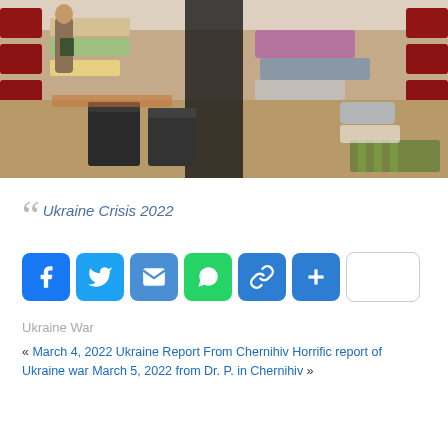[Figure (photo): Interior of a large hall or auditorium converted into a refugee shelter. Red chairs line the sides, folding beds and sleeping mats with blankets are scattered on the floor. A dark carpet runner runs down the center aisle. A person stands near the left side. Green striped mats are visible on the right.]
Ukraine Crisis 2022
Ukraine War
« March 4, 2022 Ukraine Report From Chernihiv Horrific report of Ukraine war March 5, 2022 from Dr. P. in Chernihiv »